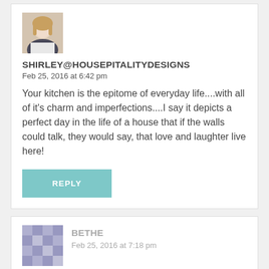[Figure (photo): Avatar photo of Shirley, a woman with blonde hair]
SHIRLEY@HOUSEPITALITYDESIGNS
Feb 25, 2016 at 6:42 pm
Your kitchen is the epitome of everyday life....with all of it's charm and imperfections....I say it depicts a perfect day in the life of a house that if the walls could talk, they would say, that love and laughter live here!
REPLY
[Figure (photo): Avatar image for Bethe, pixelated/patterned avatar]
BETHE
Feb 25, 2016 at 7:18 pm